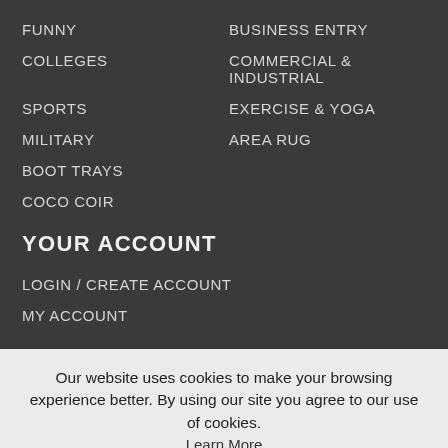FUNNY
BUSINESS ENTRY
COLLEGES
COMMERCIAL & INDUSTRIAL
SPORTS
EXERCISE & YOGA
MILITARY
AREA RUG
BOOT TRAYS
COCO COIR
YOUR ACCOUNT
LOGIN / CREATE ACCOUNT
MY ACCOUNT
Our website uses cookies to make your browsing experience better. By using our site you agree to our use of cookies.
Learn More
I Agree